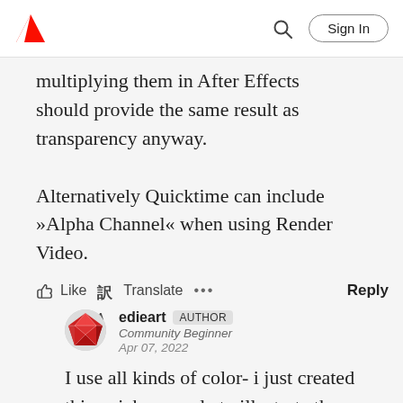Adobe | Sign In
multiplying them in After Effects should provide the same result as transparency anyway.

Alternatively Quicktime can include »Alpha Channel« when using Render Video.
Like  Translate  ...  Reply
edieart  AUTHOR
Community Beginner
Apr 07, 2022
I use all kinds of color- i just created this quick example to illustrate the